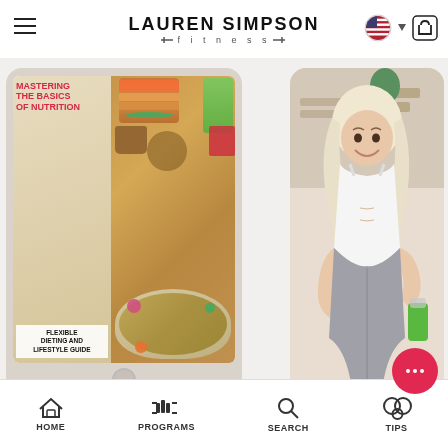LAUREN SIMPSON fitness
[Figure (screenshot): Website screenshot of Lauren Simpson Fitness e-commerce page showing product listing for 'Basics of Nutrition #2: Flexible' e-book. Left product shows tablet mockup with book cover 'Mastering the Basics of Nutrition - Flexible Dieting and Lifestyle Guide' with food imagery. Right product shows a woman with blonde hair in white sports top holding a green smoothie. Bottom navigation shows HOME, PROGRAMS, SEARCH, TIPS icons. Price shown as $24.95. E-book label in pink script above title. Purple wishlist heart button and red chat bubble visible.]
BASICS OF NUTRITION #2: FLEXIBLE
$24.95
HOME  PROGRAMS  SEARCH  TIPS